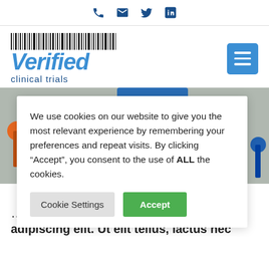Social icons row: phone, email, Twitter, LinkedIn
[Figure (logo): Verified Clinical Trials logo with barcode above italic blue 'Verified' text and 'clinical trials' subtitle]
[Figure (photo): Hero image showing colorful push pins on a calendar, partially visible with a blue button at top]
We use cookies on our website to give you the most relevant experience by remembering your preferences and repeat visits. By clicking “Accept”, you consent to the use of ALL the cookies.
Cookie Settings | Accept
sectetur adipiscing elit. Ut elit tellus, iactus nec